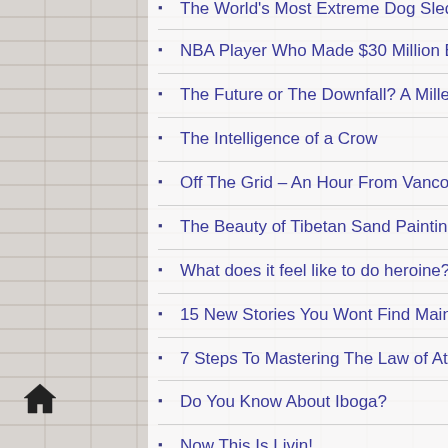The World's Most Extreme Dog Sled Patrol (partial, cut off at top)
NBA Player Who Made $30 Million Explains Why He's Quitting At Age 26
The Future or The Downfall? A Millennial's Take On 21st Century Capitalism
The Intelligence of a Crow
Off The Grid – An Hour From Vancouver, BC
The Beauty of Tibetan Sand Paintings and The Philosophy Behind Them
What does it feel like to do heroine?
15 New Stories You Wont Find Mainstream
7 Steps To Mastering The Law of Attraction In 2016
Do You Know About Iboga?
Now This Is Livin!
How To Beat ISIS (partial, cut off at bottom)